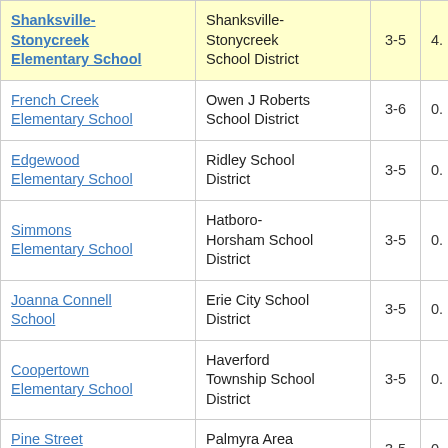| School | District | Grades | Score |
| --- | --- | --- | --- |
| Shanksville-Stonycreek Elementary School | Shanksville-Stonycreek School District | 3-5 | 4. |
| French Creek Elementary School | Owen J Roberts School District | 3-6 | 0. |
| Edgewood Elementary School | Ridley School District | 3-5 | 0. |
| Simmons Elementary School | Hatboro-Horsham School District | 3-5 | 0. |
| Joanna Connell School | Erie City School District | 3-5 | 0. |
| Coopertown Elementary School | Haverford Township School District | 3-5 | 0. |
| Pine Street Elementary School | Palmyra Area School District | 3-5 | 0. |
| Aronimink | Upper Darby |  |  |